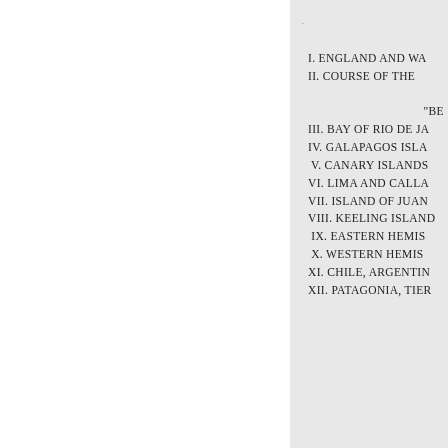I. ENGLAND AND WA...
II. COURSE OF THE ...
“BE...
III. BAY OF RIO DE JA...
IV. GALAPAGOS ISLA...
V. CANARY ISLANDS...
VI. LIMA AND CALLA...
VII. ISLAND OF JUAN...
VIII. KEELING ISLAND...
IX. EASTERN HEMIS...
X. WESTERN HEMISH...
XI. CHILE, ARGENTIN...
XII. PATAGONIA, TIER...